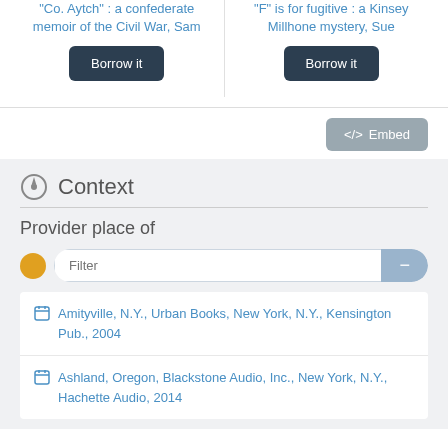"Co. Aytch" : a confederate memoir of the Civil War, Sam
Borrow it
"F" is for fugitive : a Kinsey Millhone mystery, Sue
Borrow it
</> Embed
Context
Provider place of
Filter
Amityville, N.Y., Urban Books, New York, N.Y., Kensington Pub., 2004
Ashland, Oregon, Blackstone Audio, Inc., New York, N.Y., Hachette Audio, 2014